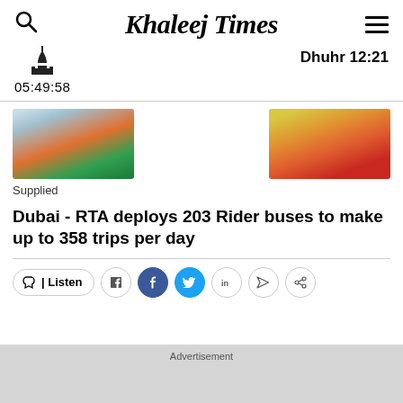Khaleej Times
Dhuhr 12:21
05:49:58
[Figure (photo): Three colorful Rider buses parked side by side — an orange and green bus, a large blue double-decker bus, and a yellow-orange-red bus]
Supplied
Dubai - RTA deploys 203 Rider buses to make up to 358 trips per day
Advertisement